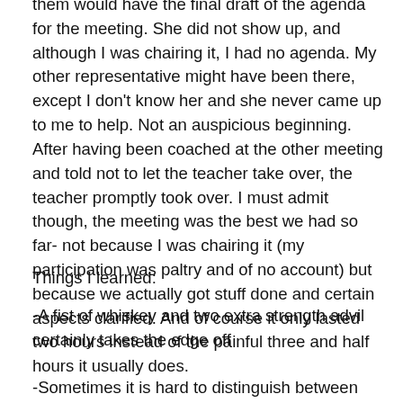them would have the final draft of the agenda for the meeting. She did not show up, and although I was chairing it, I had no agenda. My other representative might have been there, except I don't know her and she never came up to me to help. Not an auspicious beginning. After having been coached at the other meeting and told not to let the teacher take over, the teacher promptly took over. I must admit though, the meeting was the best we had so far- not because I was chairing it (my participation was paltry and of no account) but because we actually got stuff done and certain aspects clarified. And of course it only lasted two hours instead of the painful three and half hours it usually does.
Things I learned:
-A fist of whiskey and two extra strength advil certainly takes the edge off
-Sometimes it is hard to distinguish between humility and